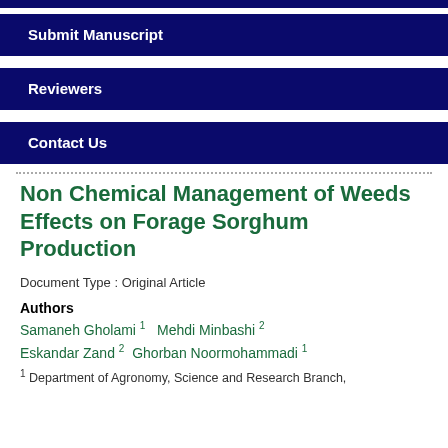Submit Manuscript
Reviewers
Contact Us
Non Chemical Management of Weeds Effects on Forage Sorghum Production
Document Type : Original Article
Authors
Samaneh Gholami 1   Mehdi Minbashi 2   Eskandar Zand 2   Ghorban Noormohammadi 1
1 Department of Agronomy, Science and Research Branch,